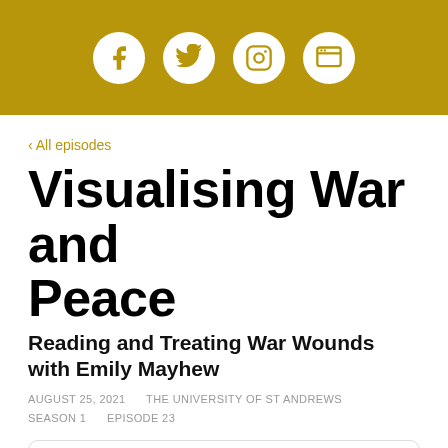[Figure (infographic): Gold header bar with four white circular social media icons: Facebook, Twitter, Instagram, and a fourth icon]
‹ All episodes
Visualising War and Peace
Reading and Treating War Wounds with Emily Mayhew
AUGUST 25, 2021    THE UNIVERSITY OF ST ANDREWS
SEASON 1    EPISODE 23
[Figure (screenshot): Podcast player card with Visualising War podcast thumbnail image (black background, gold ram/goat logo, text VISUALISING WAR) and text: Visualising War and Peace / Reading and Treating...]